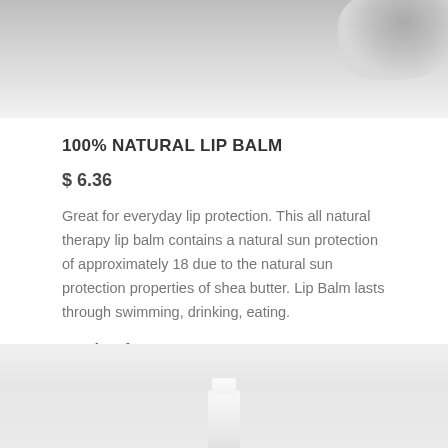[Figure (photo): Top portion of a product photo showing a white/gray background with a partial view of a hand or product at the top right corner]
100% NATURAL LIP BALM
$ 6.36
Great for everyday lip protection. This all natural therapy lip balm contains a natural sun protection of approximately 18 due to the natural sun protection properties of shea butter. Lip Balm lasts through swimming, drinking, eating.
Paraben free.
[Figure (photo): Bottom portion showing a white lip balm stick product on a light gray background]